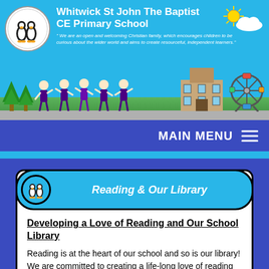Whitwick St John The Baptist CE Primary School — "We are an open and welcoming Christian family, which encourages children to be curious about the wider world and aims to create resourceful, independent learners."
MAIN MENU
Reading & Our Library
Developing a Love of Reading and Our School Library
Reading is at the heart of our school and so is our library! We are committed to creating a life-long love of reading for reading for our children, staff and whole school community. We love reading at our school and the children are so lucky to have a beautiful, well-stocked library for